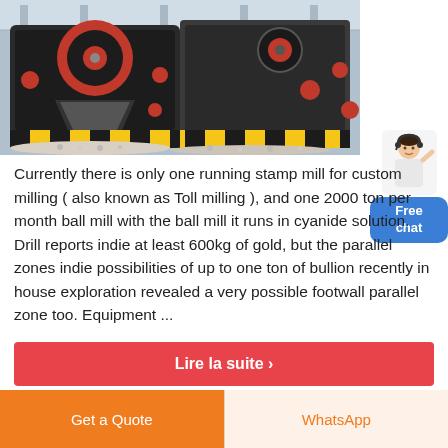[Figure (photo): Industrial stamp mill / jaw crusher machinery in a factory setting, showing large black metal equipment with red circular gears and yellow-black hazard striped base, with crushed stone/gravel on the floor]
Currently there is only one running stamp mill for custom milling ( also known as Toll milling ), and one 2000 ton per month ball mill with the ball mill it runs in cyanide solution. Drill reports indie at least 600kg of gold, but the parallel zones indie possibilities of up to one ton of bullion recently in house exploration revealed a very possible footwall parallel zone too. Equipment ...
Lire la suite ›
Get a Quote
WhatsApp